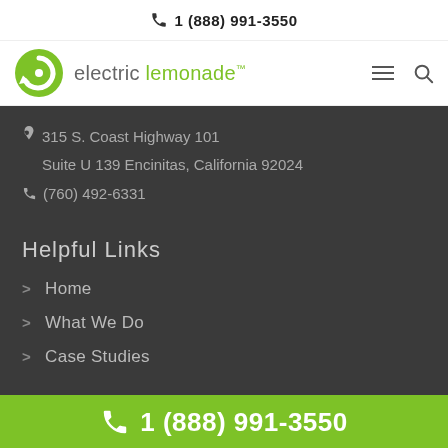1 (888) 991-3550
[Figure (logo): Electric Lemonade logo with green circular arrow icon and text 'electric lemonade']
315 S. Coast Highway 101
Suite U 139 Encinitas, California 92024
(760) 492-6331
Helpful Links
Home
What We Do
Case Studies
1 (888) 991-3550